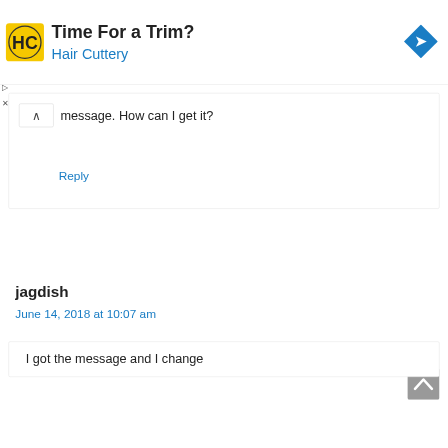[Figure (screenshot): Advertisement banner for Hair Cuttery with yellow logo showing HC initials, text 'Time For a Trim?' and 'Hair Cuttery' in blue, and a blue navigation arrow icon on the right.]
message. How can I get it?
Reply
jagdish
June 14, 2018 at 10:07 am
I got the message and I change